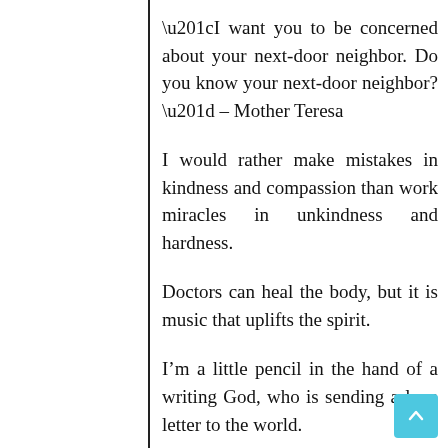“I want you to be concerned about your next-door neighbor. Do you know your next-door neighbor?” – Mother Teresa
I would rather make mistakes in kindness and compassion than work miracles in unkindness and hardness.
Doctors can heal the body, but it is music that uplifts the spirit.
I’m a little pencil in the hand of a writing God, who is sending a love letter to the world.